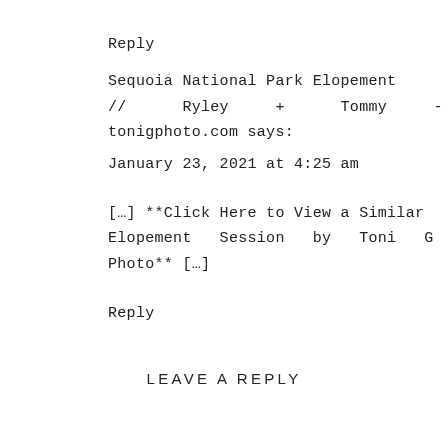Reply
Sequoia National Park Elopement // Ryley + Tommy - tonigphoto.com says:
January 23, 2021 at 4:25 am
[…] **Click Here to View a Similar Elopement Session by Toni G Photo** […]
Reply
LEAVE A REPLY